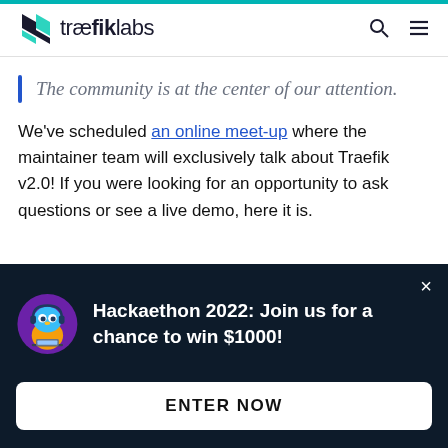traefiklabs
The community is at the center of our attention.
We've scheduled an online meet-up where the maintainer team will exclusively talk about Traefik v2.0! If you were looking for an opportunity to ask questions or see a live demo, here it is.
[Figure (infographic): Dark popup banner with Traefik Labs mascot (blue gopher with headphones at laptop) and text: Hackaethon 2022: Join us for a chance to win $1000! with ENTER NOW button]
Hackaethon 2022: Join us for a chance to win $1000!
ENTER NOW